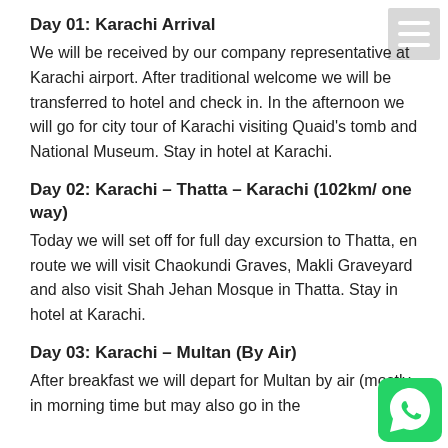Day 01: Karachi Arrival
We will be received by our company representative at Karachi airport. After traditional welcome we will be transferred to hotel and check in. In the afternoon we will go for city tour of Karachi visiting Quaid's tomb and National Museum. Stay in hotel at Karachi.
Day 02: Karachi – Thatta – Karachi (102km/ one way)
Today we will set off for full day excursion to Thatta, en route we will visit Chaokundi Graves, Makli Graveyard and also visit Shah Jehan Mosque in Thatta. Stay in hotel at Karachi.
Day 03: Karachi – Multan (By Air)
After breakfast we will depart for Multan by air (mostly in morning time but may also go in the